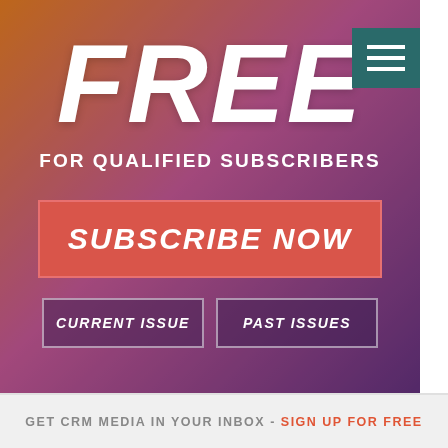[Figure (illustration): Hero banner with gradient background (orange to purple) and bokeh effect photo overlay. Contains FREE headline, FOR QUALIFIED SUBSCRIBERS subtext, SUBSCRIBE NOW button, CURRENT ISSUE and PAST ISSUES buttons, and a hamburger menu icon in top right.]
FREE
FOR QUALIFIED SUBSCRIBERS
SUBSCRIBE NOW
CURRENT ISSUE
PAST ISSUES
GET CRM MEDIA IN YOUR INBOX - SIGN UP FOR FREE